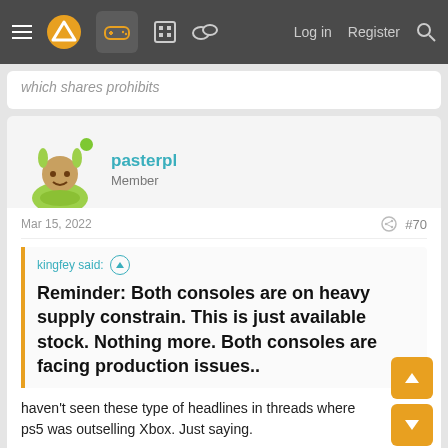Navigation bar with menu, logo, gamepad icon, forum icons, Log in, Register, Search
which shares prohibits
pasterpl
Member
Mar 15, 2022  #70
kingfey said: ↑
Reminder: Both consoles are on heavy supply constrain. This is just available stock. Nothing more. Both consoles are facing production issues..
haven't seen these type of headlines in threads where ps5 was outselling Xbox. Just saying.